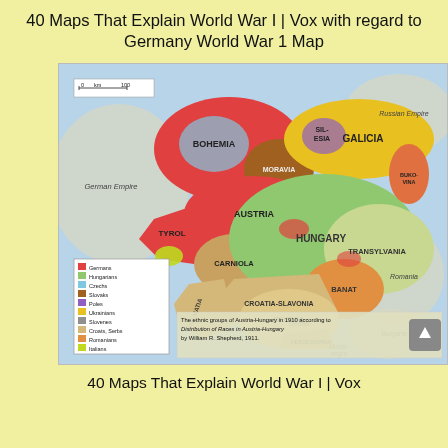40 Maps That Explain World War I | Vox with regard to Germany World War 1 Map
[Figure (map): Ethnic groups of Austria-Hungary in 1910 according to Distribution of Races in Austria-Hungary by William R. Shepherd, 1911. Map shows regions including Bohemia, Moravia, Silesia, Galicia, Austria, Tyrol, Carniola, Hungary, Transylvania, Croatia-Slavonia, Bosnia, Herzegovina, Dalmatia, and Banat. Surrounding areas include German Empire, Italy, Romania, Serbia, Bulgaria, Russian Empire. Legend shows ethnic groups: Germans, Hungarians, Czechs, Slovaks, Poles, Ukrainians, Slovenes, Croats/Serbs, Romanians, Italians.]
The ethnic groups of Austria-Hungary in 1910 according to Distribution of Races in Austria-Hungary by William R. Shepherd, 1911.
40 Maps That Explain World War I | Vox